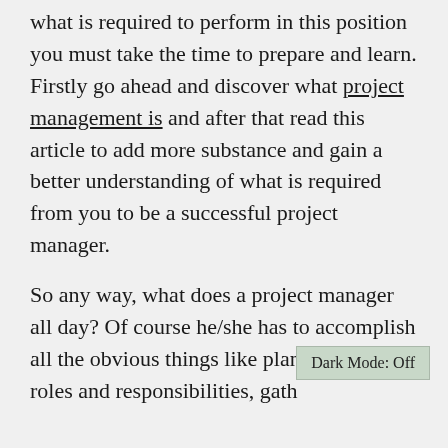what is required to perform in this position you must take the time to prepare and learn. Firstly go ahead and discover what project management is and after that read this article to add more substance and gain a better understanding of what is required from you to be a successful project manager.

So any way, what does a project manager all day? Of course he/she has to accomplish all the obvious things like planning, define roles and responsibilities, gath...